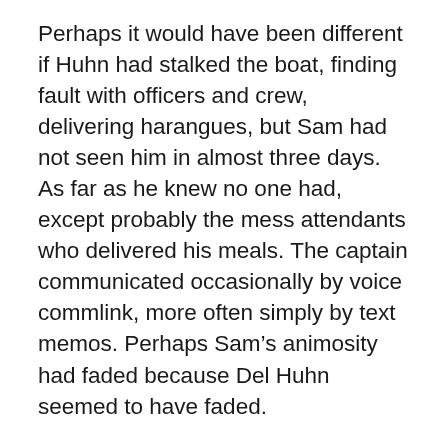Perhaps it would have been different if Huhn had stalked the boat, finding fault with officers and crew, delivering harangues, but Sam had not seen him in almost three days. As far as he knew no one had, except probably the mess attendants who delivered his meals. The captain communicated occasionally by voice commlink, more often simply by text memos. Perhaps Sam’s animosity had faded because Del Huhn seemed to have faded.
Twenty minutes later, Sam’s commlink vibrated and he squinted up the ID tag of Yeoman Fischer.
“What’s up, Fischer?”
Sir, the captain said to ping you and say you won’t need to show for the holo-briefing. Lieutenant